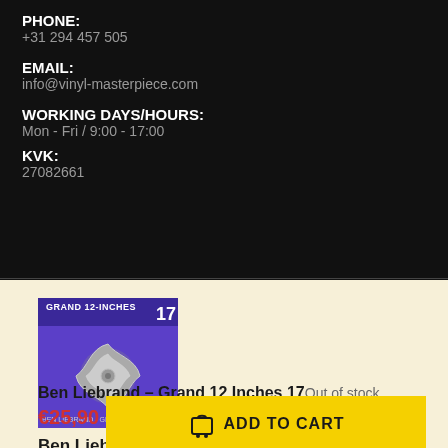PHONE:
+31 294 457 505
EMAIL:
info@vinyl-masterpiece.com
WORKING DAYS/HOURS:
Mon - Fri / 9:00 - 17:00
KVK:
27082661
[Figure (photo): Album cover for Ben Liebrand - Grand 12 Inches 17, featuring a metallic geometric shape on a purple background with text 'GRAND 12-INCHES 17']
Ben Liebrand – Grand 12 Inches 17 Out of stock
€25,90
ADD TO CART